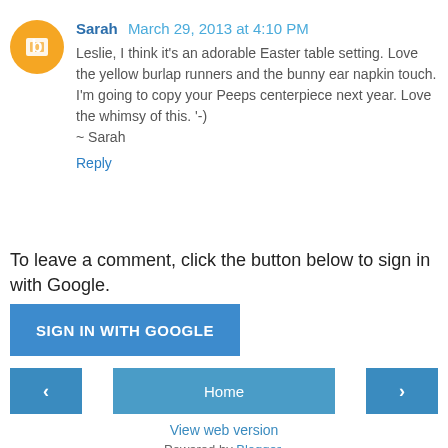Sarah March 29, 2013 at 4:10 PM
Leslie, I think it's an adorable Easter table setting. Love the yellow burlap runners and the bunny ear napkin touch. I'm going to copy your Peeps centerpiece next year. Love the whimsy of this. '-)
~ Sarah
Reply
To leave a comment, click the button below to sign in with Google.
SIGN IN WITH GOOGLE
‹
Home
›
View web version
Powered by Blogger.